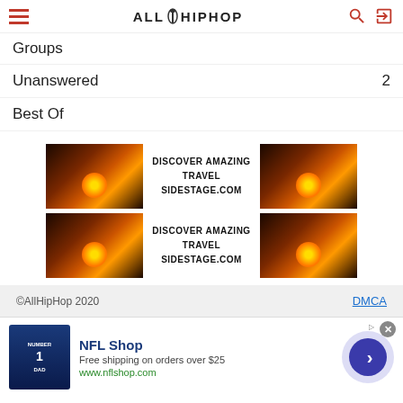ALLHIPHOP
Groups
Unanswered  2
Best Of
[Figure (illustration): Advertisement banner: two rows of travel ads showing sunset over cliffs with text DISCOVER AMAZING TRAVEL SIDESTAGE.COM]
©AllHipHop 2020  DMCA
[Figure (illustration): Bottom advertisement: NFL Shop - Free shipping on orders over $25 - www.nflshop.com with navy jersey image and navigation arrow button]